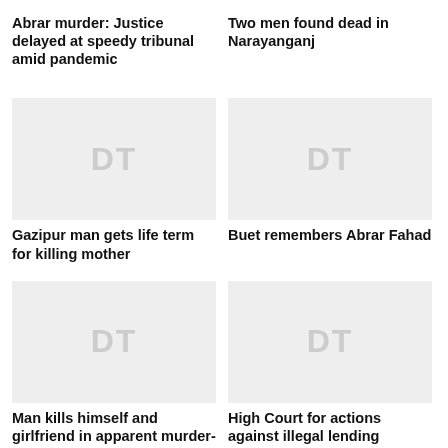Abrar murder: Justice delayed at speedy tribunal amid pandemic
Two men found dead in Narayanganj
[Figure (photo): Placeholder image with DT watermark for Gazipur man gets life term for killing mother]
[Figure (photo): Placeholder image with DT watermark for Buet remembers Abrar Fahad]
Gazipur man gets life term for killing mother
Buet remembers Abrar Fahad
[Figure (photo): Placeholder image with DT watermark for Man kills himself and girlfriend in apparent murder-suicide in Gazipur]
[Figure (photo): Placeholder image with DT watermark for High Court for actions against illegal lending institutions, individuals]
Man kills himself and girlfriend in apparent murder-suicide in Gazipur
High Court for actions against illegal lending institutions, individuals